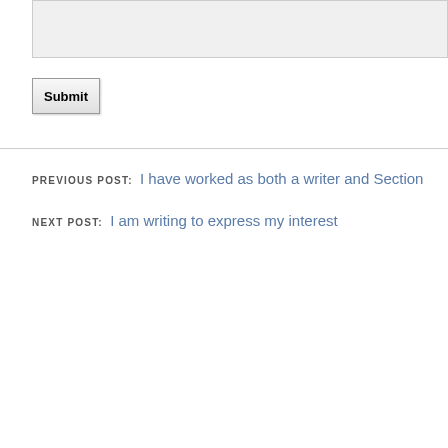[Figure (other): Text input textarea box with light gray background]
Submit
PREVIOUS POST: I have worked as both a writer and Section
NEXT POST: I am writing to express my interest